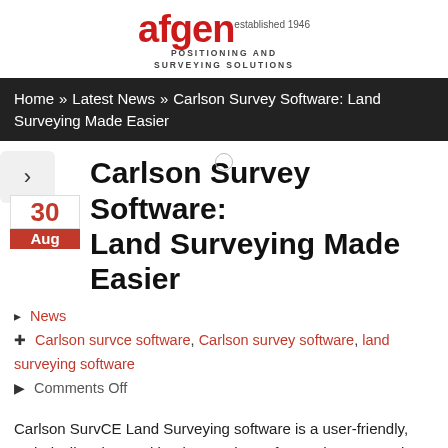[Figure (logo): afgen logo with tagline POSITIONING AND SURVEYING SOLUTIONS]
Home » Latest News » Carlson Survey Software: Land Surveying Made Easier
Carlson Survey Software: Land Surveying Made Easier
News
Carlson survce software, Carlson survey software, land surveying software
Comments Off
Carlson SurvCE Land Surveying software is a user-friendly, technically advanced land surveying software that can work independently or